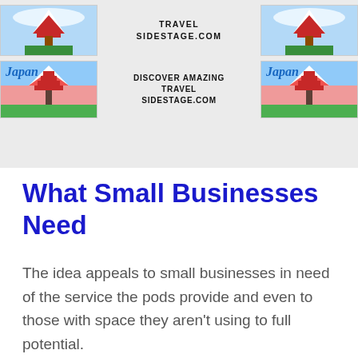[Figure (illustration): Advertisement banner showing Japan travel imagery with two rows of ads. Top row: Japanese pagoda scenic photos on left and right, center text reads TRAVEL SIDESTAGE.COM. Bottom row: Japan-themed travel images with italic Japan text on left and right, center text reads DISCOVER AMAZING TRAVEL SIDESTAGE.COM.]
What Small Businesses Need
The idea appeals to small businesses in need of the service the pods provide and even to those with space they aren't using to full potential.